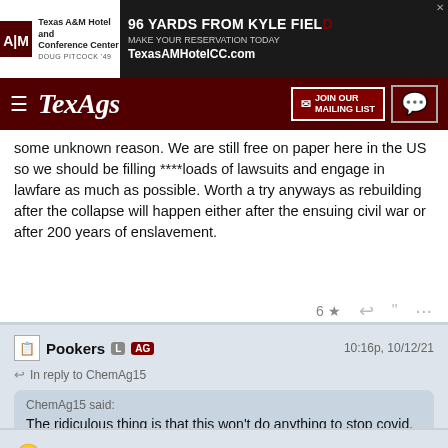[Figure (screenshot): Texas A&M Hotel and Conference Center advertisement banner with logo and '96 YARDS FROM KYLE FIELD' text]
[Figure (screenshot): TexAgs website navigation bar with hamburger menu, TexAgs logo, Join Our Mailing List button, and chat icon]
some unknown reason. We are still free on paper here in the US so we should be filling ****loads of lawsuits and engage in lawfare as much as possible. Worth a try anyways as rebuilding after the collapse will happen either after the ensuing civil war or after 200 years of enslavement.
Pookers  L  AG   10:16p, 10/12/21
In reply to ChemAg15
ChemAg15 said: The ridiculous thing is that this won't do anything to stop covid.
Everybody above room temp IQ knows this. Its very obvious what is going on here.
DallasAg 94  L   10:24p, 10/12/21